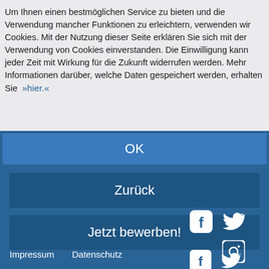Um Ihnen einen bestmöglichen Service zu bieten und die Verwendung mancher Funktionen zu erleichtern, verwenden wir Cookies. Mit der Nutzung dieser Seite erklären Sie sich mit der Verwendung von Cookies einverstanden. Die Einwilligung kann jeder Zeit mit Wirkung für die Zukunft widerrufen werden. Mehr Informationen darüber, welche Daten gespeichert werden, erhalten Sie »hier.«
OK
Zurück
Jetzt bewerben!
[Figure (logo): Facebook icon (white rounded square with f)]
[Figure (logo): Twitter icon (white bird)]
[Figure (logo): Instagram icon (white camera outline in rounded square)]
Impressum
Datenschutz